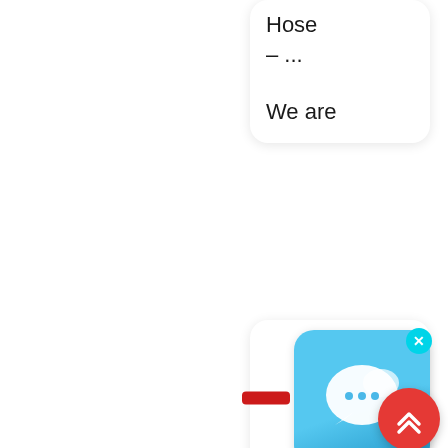Hose – ...
We are
[Figure (screenshot): Blue chat/messaging app icon with speech bubble logo and a cyan X close button in top right corner]
Silicon Hose | Silicon Vacuu Hose | Silicon Radiat Hose – ...
[Figure (other): Red scroll-to-top button with double chevron up arrow]